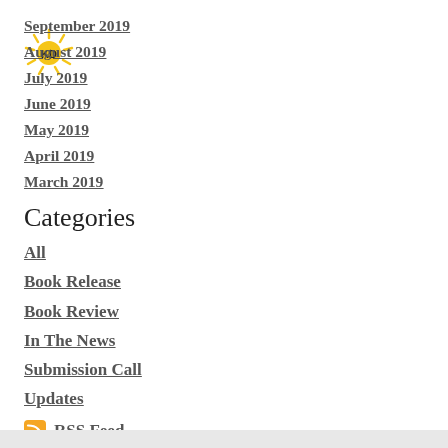September 2019
August 2019
July 2019
June 2019
May 2019
April 2019
March 2019
Categories
All
Book Release
Book Review
In The News
Submission Call
Updates
RSS Feed